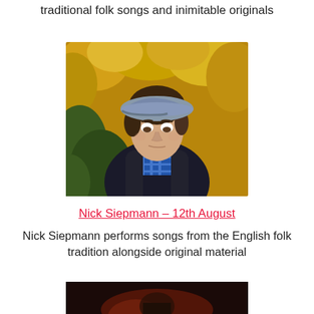traditional folk songs and inimitable originals
[Figure (photo): Young man wearing a grey flat cap and dark jacket with a blue plaid shirt, looking downward, with autumn yellow leaves in the background]
Nick Siepmann – 12th August
Nick Siepmann performs songs from the English folk tradition alongside original material
[Figure (photo): Partially visible photo at bottom of page, dark background, figure partially visible]